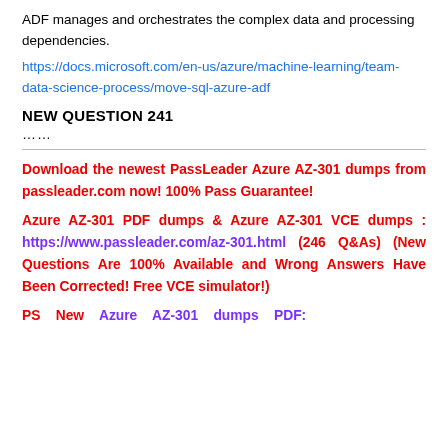ADF manages and orchestrates the complex data and processing dependencies.
https://docs.microsoft.com/en-us/azure/machine-learning/team-data-science-process/move-sql-azure-adf
NEW QUESTION 241
......
Download the newest PassLeader Azure AZ-301 dumps from passleader.com now! 100% Pass Guarantee!
Azure AZ-301 PDF dumps & Azure AZ-301 VCE dumps : https://www.passleader.com/az-301.html (246 Q&As) (New Questions Are 100% Available and Wrong Answers Have Been Corrected! Free VCE simulator!)
PS New Azure AZ-301 dumps PDF: